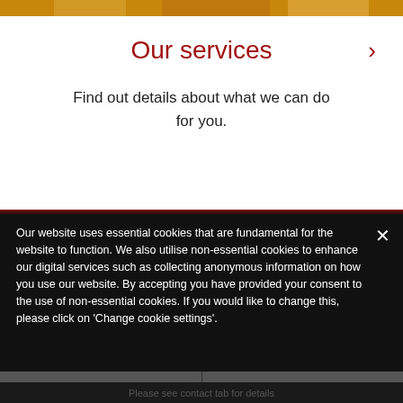[Figure (photo): Top image strip showing food items with orange/warm tones]
Our services →
Find out details about what we can do for you.
Our website uses essential cookies that are fundamental for the website to function. We also utilise non-essential cookies to enhance our digital services such as collecting anonymous information on how you use our website. By accepting you have provided your consent to the use of non-essential cookies. If you would like to change this, please click on 'Change cookie settings'.
Accept & Close
Change cookie settings
Please see contact tab for details